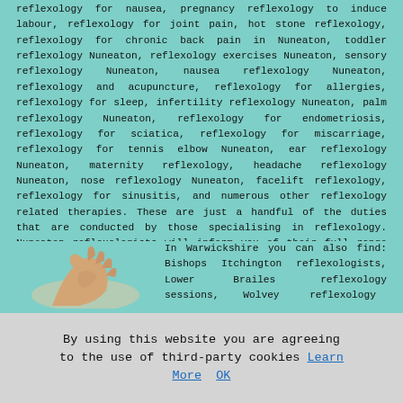reflexology for nausea, pregnancy reflexology to induce labour, reflexology for joint pain, hot stone reflexology, reflexology for chronic back pain in Nuneaton, toddler reflexology Nuneaton, reflexology exercises Nuneaton, sensory reflexology Nuneaton, nausea reflexology Nuneaton, reflexology and acupuncture, reflexology for allergies, reflexology for sleep, infertility reflexology Nuneaton, palm reflexology Nuneaton, reflexology for endometriosis, reflexology for sciatica, reflexology for miscarriage, reflexology for tennis elbow Nuneaton, ear reflexology Nuneaton, maternity reflexology, headache reflexology Nuneaton, nose reflexology Nuneaton, facelift reflexology, reflexology for sinusitis, and numerous other reflexology related therapies. These are just a handful of the duties that are conducted by those specialising in reflexology. Nuneaton reflexologists will inform you of their full range of reflexology services.
Warwickshire Reflexology
[Figure (photo): A hand performing reflexology, shown from the side against a light background]
In Warwickshire you can also find: Bishops Itchington reflexologists, Lower Brailes reflexology sessions, Wolvey reflexology
By using this website you are agreeing to the use of third-party cookies Learn More OK